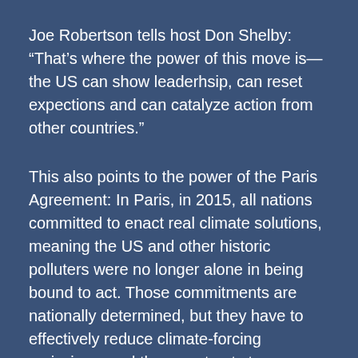Joe Robertson tells host Don Shelby: “That’s where the power of this move is—the US can show leaderhsip, can reset expections and can catalyze action from other countries.”
This also points to the power of the Paris Agreement: In Paris, in 2015, all nations committed to enact real climate solutions, meaning the US and other historic polluters were no longer alone in being bound to act. Those commitments are nationally determined, but they have to effectively reduce climate-forcing emissions, and they must get stronger over time. No backsliding is allowed.
In terms of sheer scale, China’s commitment to net-zero will require more actual emissions reduction than